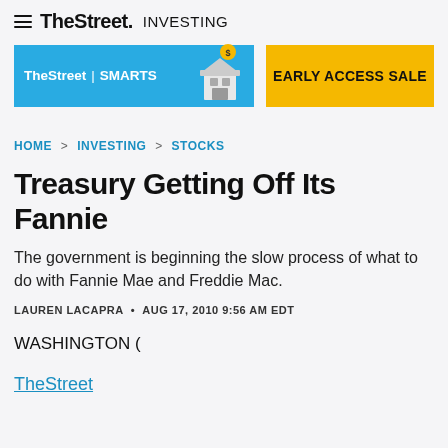TheStreet INVESTING
[Figure (infographic): TheStreet | SMARTS banner advertisement with blue background and building icon, alongside a yellow EARLY ACCESS SALE button]
HOME > INVESTING > STOCKS
Treasury Getting Off Its Fannie
The government is beginning the slow process of what to do with Fannie Mae and Freddie Mac.
LAUREN LACAPRA • AUG 17, 2010 9:56 AM EDT
WASHINGTON (
TheStreet